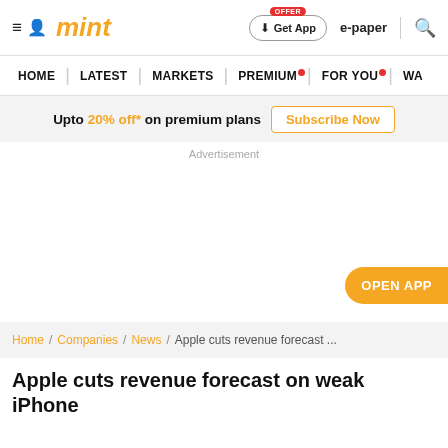mint — Get App | e-paper
HOME | LATEST | MARKETS | PREMIUM | FOR YOU | WA
Upto 20% off* on premium plans Subscribe Now
Advertisement
OPEN APP
Home / Companies / News / Apple cuts revenue forecast ...
Apple cuts revenue forecast on weak iPhone